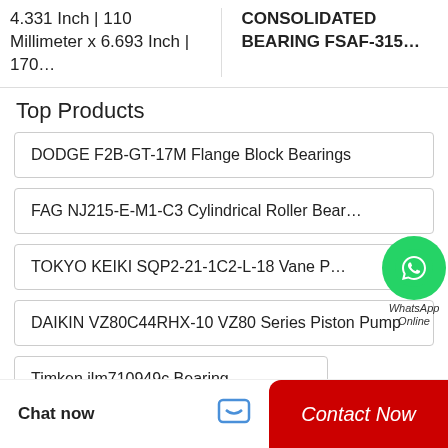4.331 Inch | 110 Millimeter x 6.693 Inch | 170…
CONSOLIDATED BEARING FSAF-315…
Top Products
DODGE F2B-GT-17M Flange Block Bearings
FAG NJ215-E-M1-C3 Cylindrical Roller Bearings
TOKYO KEIKI SQP2-21-1C2-L-18 Vane Pump
DAIKIN VZ80C44RHX-10 VZ80 Series Piston Pump
Timken jlm710949c Bearing
[Figure (illustration): WhatsApp Online floating button with green circle and phone icon, labeled WhatsApp Online]
Chat now
Contact Now